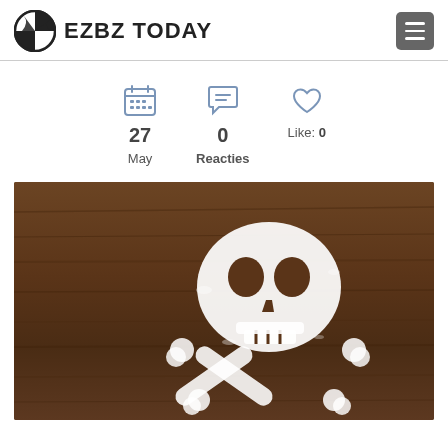EZBZ TODAY
27 May  |  0 Reacties  |  Like: 0
[Figure (photo): A skull-and-crossbones shape made from white sugar or salt powder on a dark wooden surface, symbolizing danger of sugar/salt.]